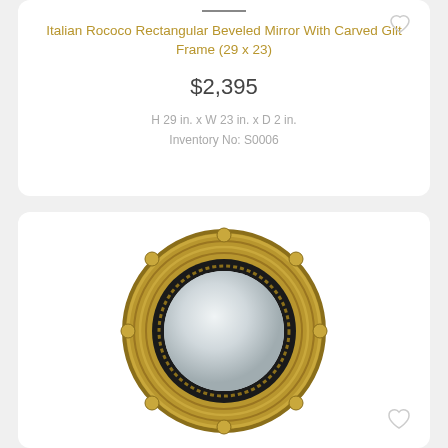Italian Rococo Rectangular Beveled Mirror With Carved Gilt Frame (29 x 23)
$2,395
H 29 in. x W 23 in. x D 2 in.
Inventory No: S0006
[Figure (photo): A round convex mirror with ornate gold/brass circular frame featuring decorative beading and ridged detailing, shown against white background]